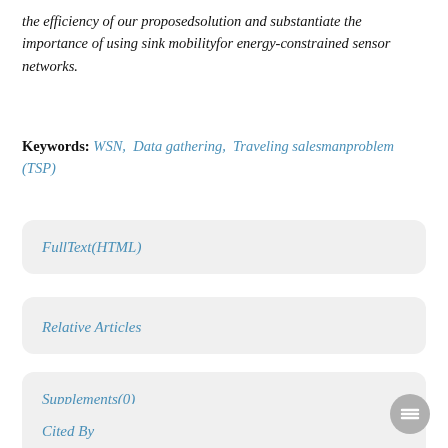the efficiency of our proposedsolution and substantiate the importance of using sink mobilityfor energy-constrained sensor networks.
Keywords: WSN, Data gathering, Traveling salesmanproblem (TSP)
FullText(HTML)
References(0)
Relative Articles
Supplements(0)
Cited By